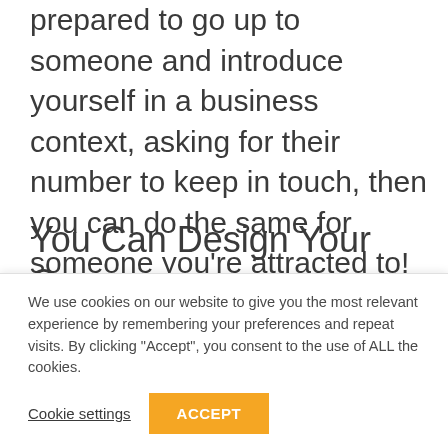prepared to go up to someone and introduce yourself in a business context, asking for their number to keep in touch, then you can do the same for someone you're attracted to!
You Can Design Your Career
This is the...
We use cookies on our website to give you the most relevant experience by remembering your preferences and repeat visits. By clicking "Accept", you consent to the use of ALL the cookies.
Cookie settings
ACCEPT